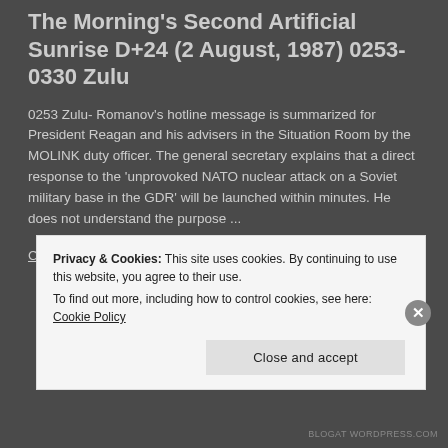The Morning's Second Artificial Sunrise D+24 (2 August, 1987) 0253-0330 Zulu
0253 Zulu- Romanov's hotline message is summarized for President Reagan and his advisers in the Situation Room by the MOLINK duty officer. The general secretary explains that a direct response to the 'unprovoked NATO nuclear attack on a Soviet military base in the GDR' will be launched within minutes. He does not understand the purpose ...
Continue reading
Privacy & Cookies: This site uses cookies. By continuing to use this website, you agree to their use.
To find out more, including how to control cookies, see here: Cookie Policy
Close and accept